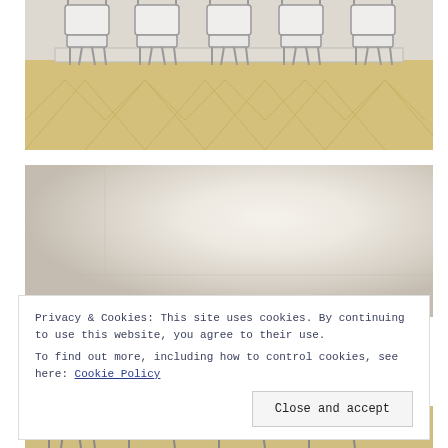[Figure (photo): Photo of modern wire-frame dining chairs around a table on chevron-patterned light wood flooring, viewed from below table level]
[Figure (photo): Interior room with neutral beige/cream walls and soft gradient lighting, partially loading or empty room image]
Privacy & Cookies: This site uses cookies. By continuing to use this website, you agree to their use.
To find out more, including how to control cookies, see here: Cookie Policy
Close and accept
[Figure (photo): Bottom portion of dining chairs visible, similar wire-frame style on wood floor background]